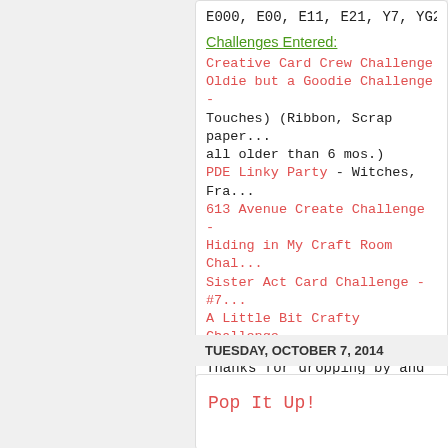E000, E00, E11, E21, Y7, YG23, YG...
Challenges Entered:
Creative Card Crew Challenge
Oldie but a Goodie Challenge - Touches) (Ribbon, Scrap paper... all older than 6 mos.)
PDE Linky Party - Witches, Fra...
613 Avenue Create Challenge -
Hiding in My Craft Room Chal...
Sister Act Card Challenge - #7...
A Little Bit Crafty Challenge -
Thanks for dropping by and h... everyone.
at October 08, 2014   9 comment...
TUESDAY, OCTOBER 7, 2014
Pop It Up!